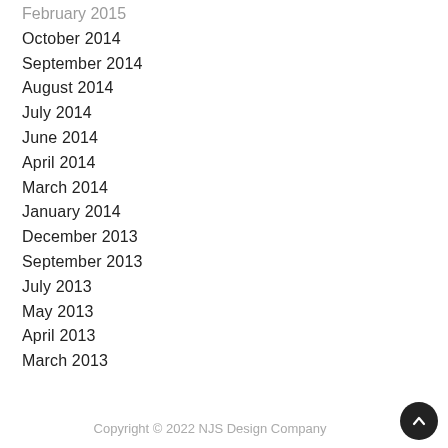February 2015
October 2014
September 2014
August 2014
July 2014
June 2014
April 2014
March 2014
January 2014
December 2013
September 2013
July 2013
May 2013
April 2013
March 2013
Copyright © 2022 NJS Design Company